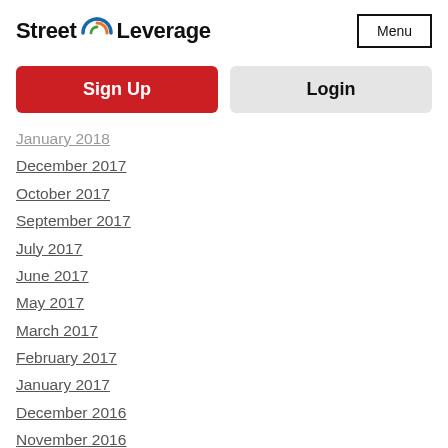[Figure (logo): Street Leverage logo with circular icon in blue, orange, and green]
Menu
Sign Up
Login
January 2018
December 2017
October 2017
September 2017
July 2017
June 2017
May 2017
March 2017
February 2017
January 2017
December 2016
November 2016
October 2016
September 2016
August 2016
July 2016